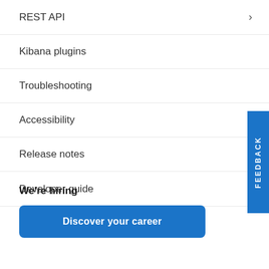REST API
Kibana plugins
Troubleshooting
Accessibility
Release notes
Developer guide
We're hiring
Discover your career